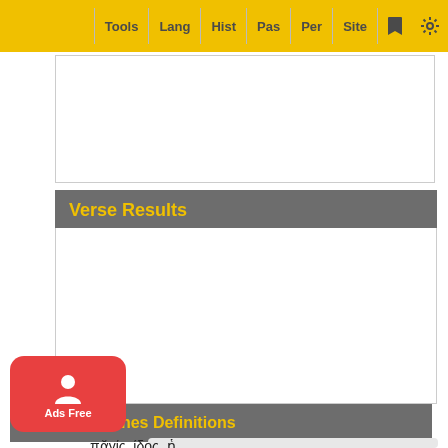Tools | Lang | Hist | Pas | Per | Site
Verse Results
Liddell-Scott-Jones Definitions
πᾰγίς, ίδος, ἡ
(πή…